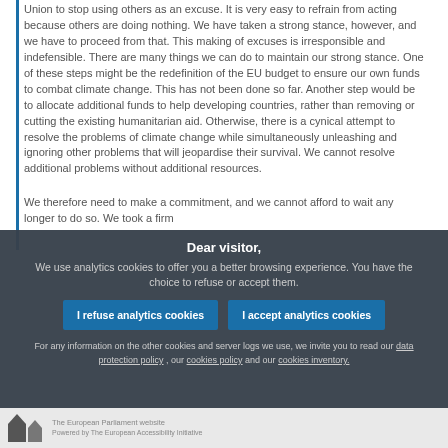Union to stop using others as an excuse. It is very easy to refrain from acting because others are doing nothing. We have taken a strong stance, however, and we have to proceed from that. This making of excuses is irresponsible and indefensible. There are many things we can do to maintain our strong stance. One of these steps might be the redefinition of the EU budget to ensure our own funds to combat climate change. This has not been done so far. Another step would be to allocate additional funds to help developing countries, rather than removing or cutting the existing humanitarian aid. Otherwise, there is a cynical attempt to resolve the problems of climate change while simultaneously unleashing and ignoring other problems that will jeopardise their survival. We cannot resolve additional problems without additional resources.
We therefore need to make a commitment, and we cannot afford to wait any longer to do so. We took a firm
Dear visitor,
We use analytics cookies to offer you a better browsing experience. You have the choice to refuse or accept them.

I refuse analytics cookies    I accept analytics cookies

For any information on the other cookies and server logs we use, we invite you to read our data protection policy , our cookies policy and our cookies inventory.